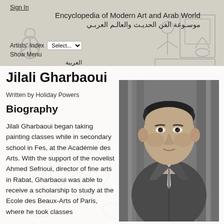Sign In
Encyclopedia of Modern Art and Arab World
موسوعة الفن الحديث والعالم العربي
Artists' Index  Select...
Show Menu
العربية
Jilali Gharbaoui
Written by Holiday Powers
Biography
Jilali Gharbaoui began taking painting classes while in secondary school in Fes, at the Académie des Arts. With the support of the novelist Ahmed Sefrioui, director of fine arts in Rabat, Gharbaoui was able to receive a scholarship to study at the Ecole des Beaux-Arts of Paris, where he took classes
[Figure (photo): Black and white portrait photograph of Jilali Gharbaoui, a man in a suit and tie, looking directly at the camera.]